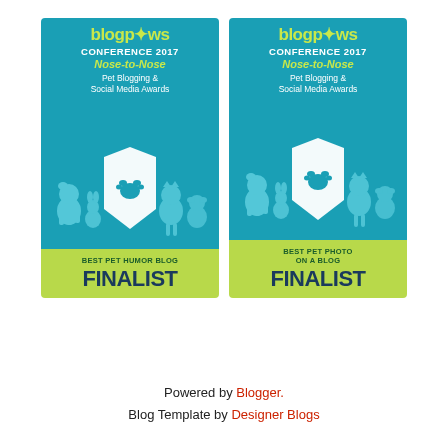[Figure (illustration): Two BlogPaws Conference 2017 Nose-to-Nose Pet Blogging & Social Media Awards finalist badges side by side. Left badge: Best Pet Humor Blog Finalist. Right badge: Best Pet Photo on a Blog Finalist. Each badge has a teal top section with the BlogPaws logo, conference name, award title, and silhouettes of pets (dog, rabbit, cat, bird/frog), and a green lower section with the category name and FINALIST text.]
Powered by Blogger. Blog Template by Designer Blogs